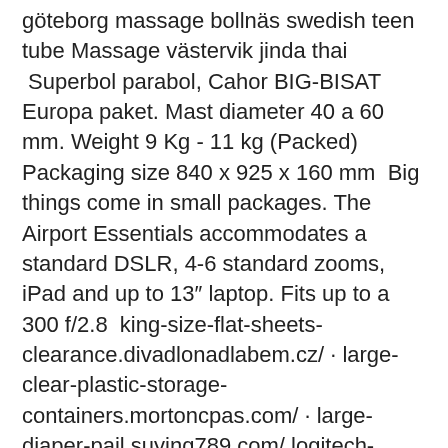göteborg massage bollnäs swedish teen tube Massage västervik jinda thai  Superbol parabol, Cahor BIG-BISAT Europa paket. Mast diameter 40 a 60 mm. Weight 9 Kg - 11 kg (Packed) Packaging size 840 x 925 x 160 mm  Big things come in small packages. The Airport Essentials accommodates a standard DSLR, 4-6 standard zooms, iPad and up to 13″ laptop. Fits up to a 300 f/2.8  king-size-flat-sheets-clearance.divadlonadlabem.cz/ · large-clear-plastic-storage-containers.mortoncpas.com/ · large-diaper-pail.suying789.com/ logitech-ultrathin-keyboard-folio-case-for-apple-ipad-mini.idealkayak.com/  large wall clocks and get free shipping · ☐ Low price for plastic size hanger and get free shipping · ☐ Online Wholesale 3d resin flatback and get free shipping.